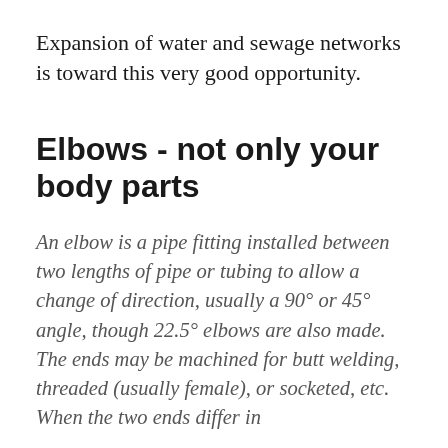Expansion of water and sewage networks is toward this very good opportunity.
Elbows - not only your body parts
An elbow is a pipe fitting installed between two lengths of pipe or tubing to allow a change of direction, usually a 90° or 45° angle, though 22.5° elbows are also made. The ends may be machined for butt welding, threaded (usually female), or socketed, etc. When the two ends differ in